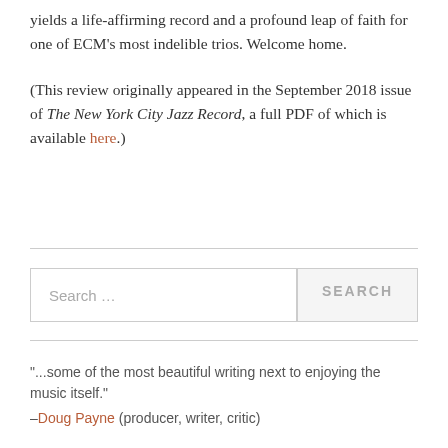yields a life-affirming record and a profound leap of faith for one of ECM's most indelible trios. Welcome home.
(This review originally appeared in the September 2018 issue of The New York City Jazz Record, a full PDF of which is available here.)
Search …
"...some of the most beautiful writing next to enjoying the music itself."
–Doug Payne (producer, writer, critic)